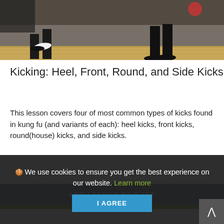[Figure (photo): Two people practicing kung fu kicks in a gym with wooden floor and dark background. One person appears to be wearing a white sneaker and dark pants.]
Kicking: Heel, Front, Round, and Side Kicks
This lesson covers four of most common types of kicks found in kung fu (and variants of each): heel kicks, front kicks, round(house) kicks, and side kicks.
ADD LESSON TO CART
🍪 We use cookies to ensure you get the best experience on our website. Learn more
I AGREE